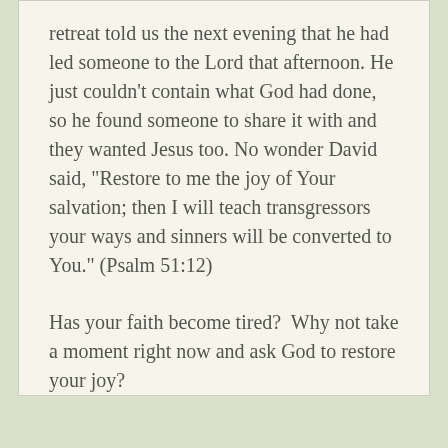retreat told us the next evening that he had led someone to the Lord that afternoon. He just couldn’t contain what God had done, so he found someone to share it with and they wanted Jesus too. No wonder David said, “Restore to me the joy of Your salvation; then I will teach transgressors your ways and sinners will be converted to You.” (Psalm 51:12)
Has your faith become tired?  Why not take a moment right now and ask God to restore your joy?